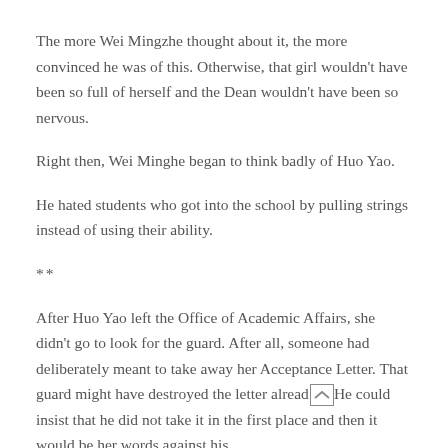The more Wei Mingzhe thought about it, the more convinced he was of this. Otherwise, that girl wouldn’t have been so full of herself and the Dean wouldn’t have been so nervous.
Right then, Wei Minghe began to think badly of Huo Yao.
He hated students who got into the school by pulling strings instead of using their ability.
**
After Huo Yao left the Office of Academic Affairs, she didn’t go to look for the guard. After all, someone had deliberately meant to take away her Acceptance Letter. That guard might have destroyed the letter already. He could insist that he did not take it in the first place and then it would be her words against his.